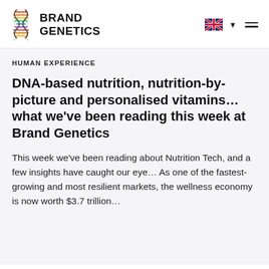[Figure (logo): Brand Genetics logo with DNA double helix in rainbow colors on the left, and bold text BRAND GENETICS on the right]
[Figure (other): UK flag icon with dropdown arrow and hamburger menu icon]
HUMAN EXPERIENCE
DNA-based nutrition, nutrition-by-picture and personalised vitamins... what we've been reading this week at Brand Genetics
This week we've been reading about Nutrition Tech, and a few insights have caught our eye... As one of the fastest-growing and most resilient markets, the wellness economy is now worth $3.7 trillion...